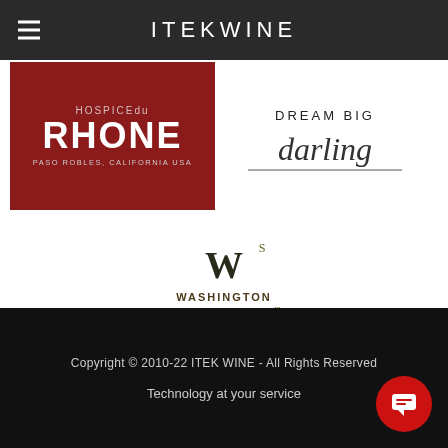ITEKWINE
[Figure (logo): HOSPICEdu RHONE - PASO ROBLES, CALIFORNIA USA logo on dark red background]
[Figure (logo): Dream Big darling script logo]
[Figure (logo): Washington Winegrowers - Advancing Our Industry logo]
Copyright © 2010-22 ITEK WINE - All Rights Reserved
Technology at your service